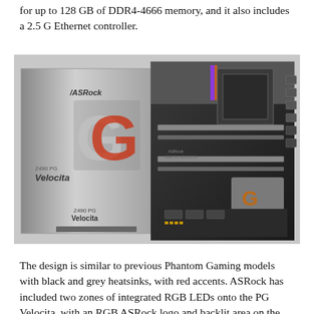for up to 128 GB of DDR4-4666 memory, and it also includes a 2.5 G Ethernet controller.
[Figure (photo): ASRock Z490 PG Velocita motherboard shown alongside its retail box. The box features the ASRock logo, a large metallic 'G' emblem with red accents, and 'Velocita' branding. The motherboard itself is visible with black and grey heatsinks, red accents, RGB lighting on the rear panel cover, and various PCIe slots and connectors visible.]
The design is similar to previous Phantom Gaming models with black and grey heatsinks, with red accents. ASRock has included two zones of integrated RGB LEDs onto the PG Velocita, with an RGB ASRock logo and backlit area on the rear panel cover, as well